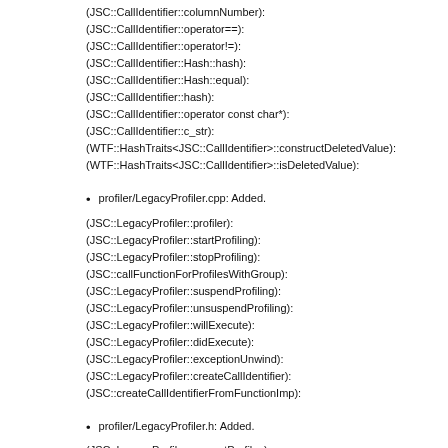(JSC::CallIdentifier::columnNumber):
(JSC::CallIdentifier::operator==):
(JSC::CallIdentifier::operator!=):
(JSC::CallIdentifier::Hash::hash):
(JSC::CallIdentifier::Hash::equal):
(JSC::CallIdentifier::hash):
(JSC::CallIdentifier::operator const char*):
(JSC::CallIdentifier::c_str):
(WTF::HashTraits<JSC::CallIdentifier>::constructDeletedValue):
(WTF::HashTraits<JSC::CallIdentifier>::isDeletedValue):
profiler/LegacyProfiler.cpp: Added.
(JSC::LegacyProfiler::profiler):
(JSC::LegacyProfiler::startProfiling):
(JSC::LegacyProfiler::stopProfiling):
(JSC::callFunctionForProfilesWithGroup):
(JSC::LegacyProfiler::suspendProfiling):
(JSC::LegacyProfiler::unsuspendProfiling):
(JSC::LegacyProfiler::willExecute):
(JSC::LegacyProfiler::didExecute):
(JSC::LegacyProfiler::exceptionUnwind):
(JSC::LegacyProfiler::createCallIdentifier):
(JSC::createCallIdentifierFromFunctionImp):
profiler/LegacyProfiler.h: Added.
(JSC::LegacyProfiler::currentProfiles):